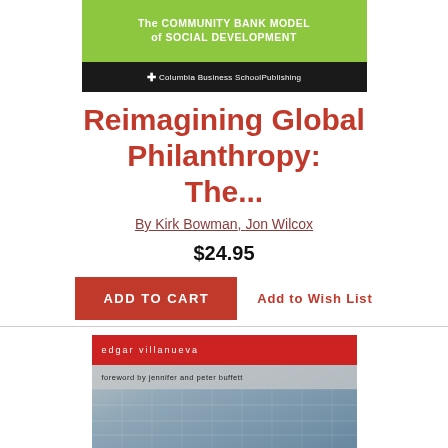[Figure (illustration): Book cover for 'Reimagining Global Philanthropy: The Community Bank Model of Social Development' published by Columbia Business School Publishing. Green top section with white bold text, black bottom bar with publisher logo and name.]
Reimagining Global Philanthropy: The...
By Kirk Bowman, Jon Wilcox
$24.95
ADD TO CART
Add to Wish List
[Figure (illustration): Book cover by edgar villanueva, foreword by jennifer and peter buffett. Red top bar with author name, gray foreword bar, background of glass building architecture.]